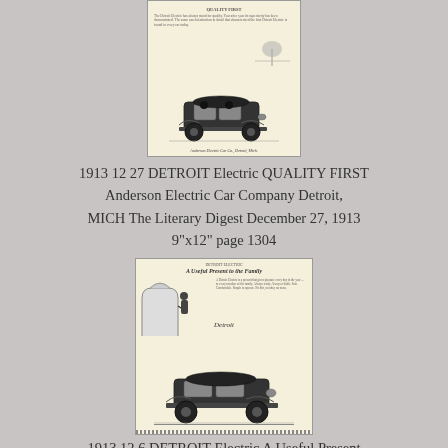[Figure (photo): Scanned vintage advertisement for Detroit Electric car, showing an early electric automobile with text above it, cream/yellowed paper background]
1913 12 27 DETROIT Electric QUALITY FIRST Anderson Electric Car Company Detroit, MICH The Literary Digest December 27, 1913 9"x12" page 1304
[Figure (photo): Scanned vintage advertisement for Detroit Electric car titled 'A Useful Present to the Family', showing an early electric automobile with a figure standing nearby, cream/yellowed paper background]
1913 12 6 DETROIT Electric A Useful Present to the Family ANDERSON ELECTRIC CAR...